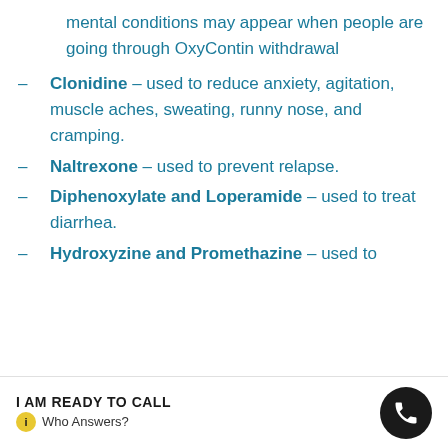mental conditions may appear when people are going through OxyContin withdrawal
Clonidine – used to reduce anxiety, agitation, muscle aches, sweating, runny nose, and cramping.
Naltrexone – used to prevent relapse.
Diphenoxylate and Loperamide – used to treat diarrhea.
Hydroxyzine and Promethazine – used to
I AM READY TO CALL  Who Answers?